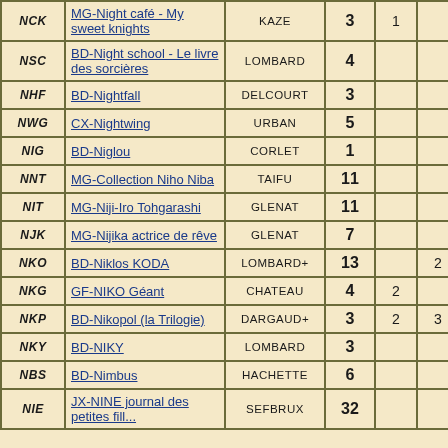| Code | Title | Publisher | Num1 | Num2 | Num3 | Date |
| --- | --- | --- | --- | --- | --- | --- |
| NCK | MG-Night café - My sweet knights | KAZE | 3 | 1 |  | 02. |
| NSC | BD-Night school - Le livre des sorcières | LOMBARD | 4 |  |  | 07. |
| NHF | BD-Nightfall | DELCOURT | 3 |  |  | 03. |
| NWG | CX-Nightwing | URBAN | 5 |  |  | 11. |
| NIG | BD-Niglou | CORLET | 1 |  |  | 01. |
| NNT | MG-Collection Niho Niba | TAIFU | 11 |  |  | 01. |
| NIT | MG-Niji-Iro Tohgarashi | GLENAT | 11 |  |  | 09. |
| NJK | MG-Nijika actrice de rêve | GLENAT | 7 |  |  | 06. |
| NKO | BD-Niklos KODA | LOMBARD+ | 13 |  | 2 | 10. |
| NKG | GF-NIKO Géant | CHATEAU | 4 | 2 |  | 03. |
| NKP | BD-Nikopol (la Trilogie) | DARGAUD+ | 3 | 2 | 3 | 07. |
| NKY | BD-NIKY | LOMBARD | 3 |  |  | 10. |
| NBS | BD-Nimbus | HACHETTE | 6 |  |  | 1 |
| NIE | JX-NINE journal des petites fill... | SEFBRUX | 32 |  |  | 12. |